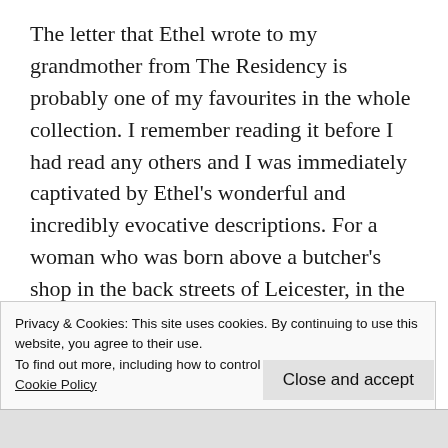The letter that Ethel wrote to my grandmother from The Residency is probably one of my favourites in the whole collection. I remember reading it before I had read any others and I was immediately captivated by Ethel's wonderful and incredibly evocative descriptions. For a woman who was born above a butcher's shop in the back streets of Leicester, in the heart of industrial England at the end of the 19th century, she could really write. Here are a couple of examples of her poetic prose:
Privacy & Cookies: This site uses cookies. By continuing to use this website, you agree to their use.
To find out more, including how to control cookies, see here:
Cookie Policy
Close and accept